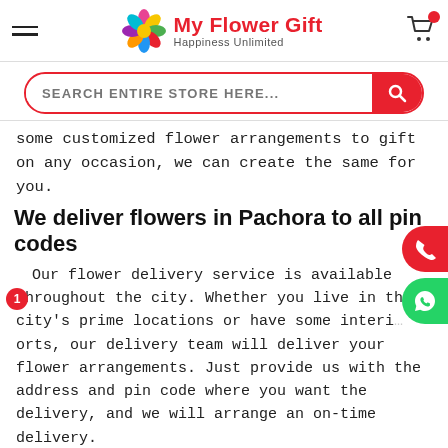My Flower Gift — Happiness Unlimited
some customized flower arrangements to gift on any occasion, we can create the same for you.
We deliver flowers in Pachora to all pin codes
Our flower delivery service is available throughout the city. Whether you live in the city's prime locations or have some interior parts, our delivery team will deliver your flower arrangements. Just provide us with the address and pin code where you want the delivery, and we will arrange an on-time delivery.
Why choose us for flower delivery partner in Pachora
There are thousands of options for flower shop in Pachora to assist you with flower delivery for various occasions and take care of your requirements. It is not easy to distinguish between the